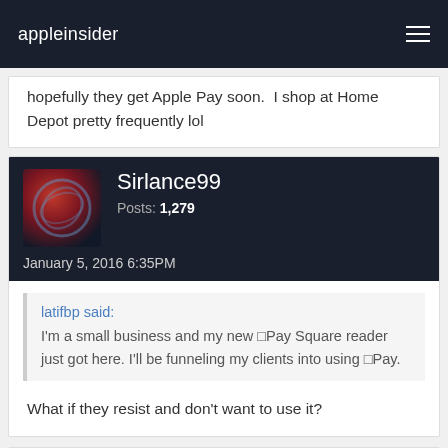appleinsider
hopefully they get Apple Pay soon.  I shop at Home Depot pretty frequently lol
Sirlance99
Posts: 1,279
January 5, 2016 6:35PM
latifbp said:
I'm a small business and my new □Pay Square reader just got here. I'll be funneling my clients into using □Pay.
What if they resist and don't want to use it?
Lee Richards